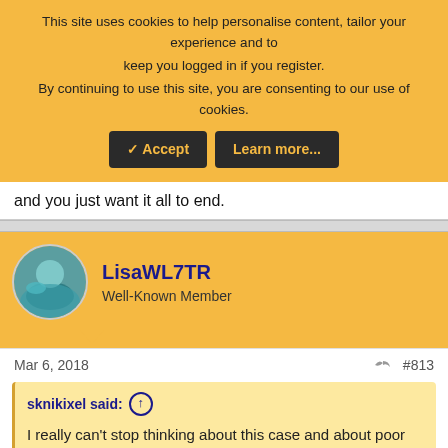This site uses cookies to help personalise content, tailor your experience and to keep you logged in if you register. By continuing to use this site, you are consenting to our use of cookies.
Accept | Learn more...
and you just want it all to end.
LisaWL7TR
Well-Known Member
Mar 6, 2018
#813
sknikixel said:
I really can't stop thinking about this case and about poor Tim and his family. Forgive me for this question, I'm a newbie to WS.